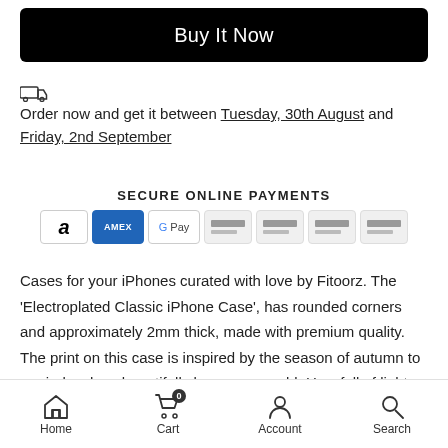Buy It Now
Order now and get it between Tuesday, 30th August and Friday, 2nd September
SECURE ONLINE PAYMENTS
[Figure (other): Payment method icons: Amazon, Amex, Google Pay, and four card placeholders]
Cases for your iPhones curated with love by Fitoorz. The 'Electroplated Classic iPhone Case', has rounded corners and approximately 2mm thick, made with premium quality. The print on this case is inspired by the season of autumn to remind us how beautifully leaves grow old. How full of light and color are their last days. We at Fitoorz, believe that creating amazing
Home  Cart  Account  Search